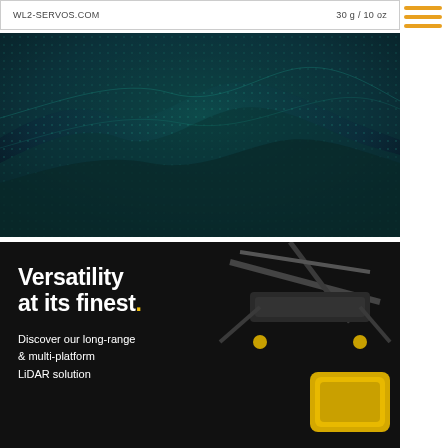[Figure (screenshot): Top banner strip showing website URL 'WL2-SERVOS.COM' on left and weight spec '30 g / 10 oz' on right, white background with gray border]
[Figure (photo): Dark teal/dark blue abstract wavy terrain or point cloud visualization with glowing dot grid texture, resembling a 3D landscape scan]
[Figure (illustration): Hamburger menu icon with three horizontal orange/amber lines on white background, positioned top right]
[Figure (photo): Dark advertisement banner for LiDAR product showing drone/UAV with yellow sensor payload on right side, text 'Versatility at its finest.' and 'Discover our long-range & multi-platform LiDAR solution' on left side, dark background]